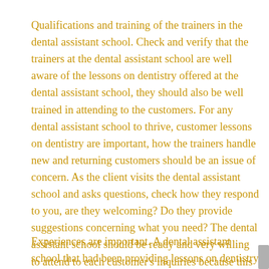Qualifications and training of the trainers in the dental assistant school. Check and verify that the trainers at the dental assistant school are well aware of the lessons on dentistry offered at the dental assistant school, they should also be well trained in attending to the customers. For any dental assistant school to thrive, customer lessons on dentistry are important, how the trainers handle new and returning customers should be an issue of concern. As the client visits the dental assistant school and asks questions, check how they respond to you, are they welcoming? Do they provide suggestions concerning what you need? The dental assistant school should be ready and very willing to attend to each customer's inquiries because this factor is what builds the dental assistant school's growth.
Experiences are important. A dental assistant school that had been providing lessons on dentistry for a long time